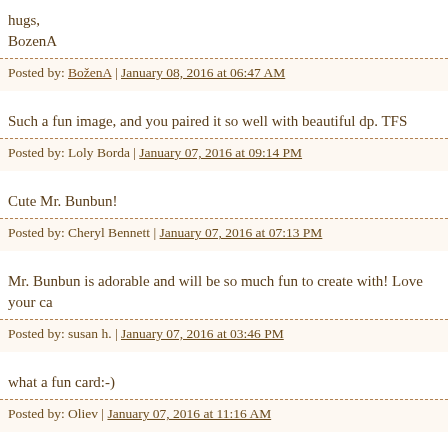hugs,
BozenA
Posted by: BoženA | January 08, 2016 at 06:47 AM
Such a fun image, and you paired it so well with beautiful dp. TFS
Posted by: Loly Borda | January 07, 2016 at 09:14 PM
Cute Mr. Bunbun!
Posted by: Cheryl Bennett | January 07, 2016 at 07:13 PM
Mr. Bunbun is adorable and will be so much fun to create with! Love your ca
Posted by: susan h. | January 07, 2016 at 03:46 PM
what a fun card:-)
Posted by: Oliev | January 07, 2016 at 11:16 AM